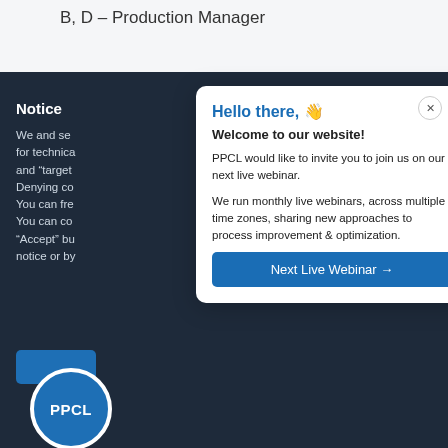B, D – Production Manager
Notice
We and se for technica and "target Denying co You can fre You can co "Accept" bu notice or by
[Figure (logo): PPCL circular logo in blue with white text]
Hello there, 👋
Welcome to our website!
PPCL would like to invite you to join us on our next live webinar.
We run monthly live webinars, across multiple time zones, sharing new approaches to process improvement & optimization.
Next Live Webinar →